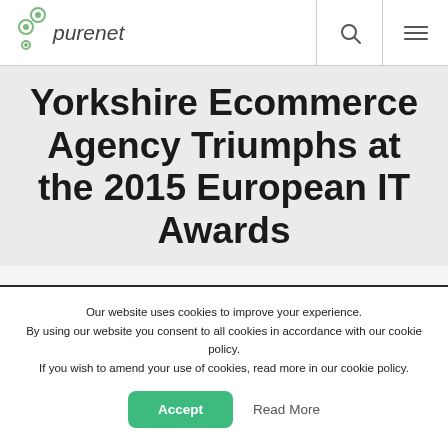purenet
Yorkshire Ecommerce Agency Triumphs at the 2015 European IT Awards
Our website uses cookies to improve your experience. By using our website you consent to all cookies in accordance with our cookie policy. If you wish to amend your use of cookies, read more in our cookie policy.
Accept  Read More